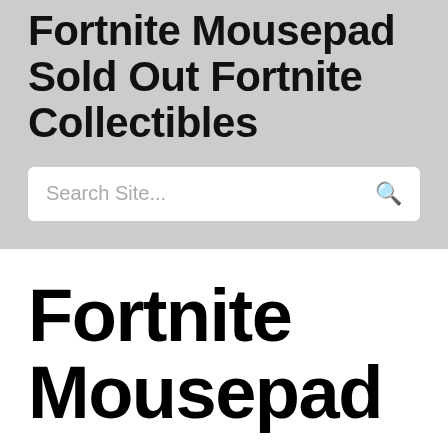Fortnite Mousepad Sold Out Fortnite Collectibles
Search Site...
Fortnite Mousepad